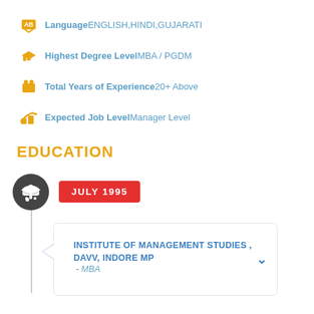Language ENGLISH,HINDI,GUJARATI
Highest Degree Level MBA / PGDM
Total Years of Experience 20+ Above
Expected Job Level Manager Level
EDUCATION
JULY 1995
INSTITUTE OF MANAGEMENT STUDIES , DAVV, INDORE MP  -  MBA